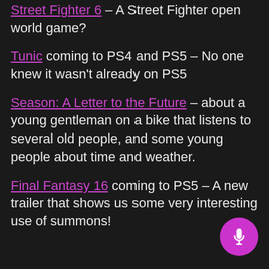Street Fighter 6 – A Street Fighter open world game?
Tunic coming to PS4 and PS5 – No one knew it wasn't already on PS5
Season: A Letter to the Future – about a young gentleman on a bike that listens to several old people, and some young people about time and weather.
Final Fantasy 16 coming to PS5 – A new trailer that shows us some very interesting use of summons!